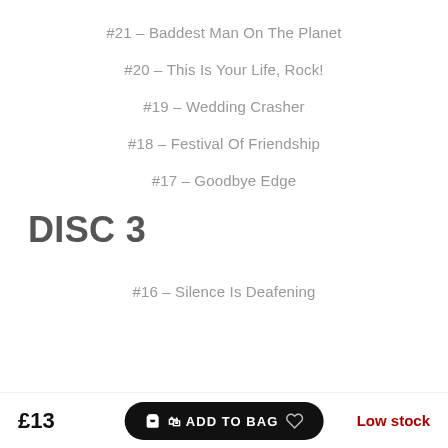#21 – Baddest Man On The Planet
#20 – This Is Your Life, Rock!
#19 – Wedding Crasher
#18 – Festival Of Friendship
#17 – Goodbye Edge
DISC 3
#16 – Silence Is Deafening
#15…
£13
ADD TO BAG
Low stock